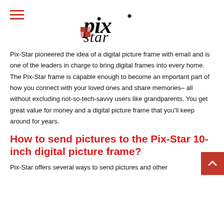pix-star logo with hamburger menu
Pix-Star pioneered the idea of a digital picture frame with email and is one of the leaders in charge to bring digital frames into every home. The Pix-Star frame is capable enough to become an important part of how you connect with your loved ones and share memories– all without excluding not-so-tech-savvy users like grandparents. You get great value for money and a digital picture frame that you'll keep around for years.
How to send pictures to the Pix-Star 10-inch digital picture frame?
Pix-Star offers several ways to send pictures and other